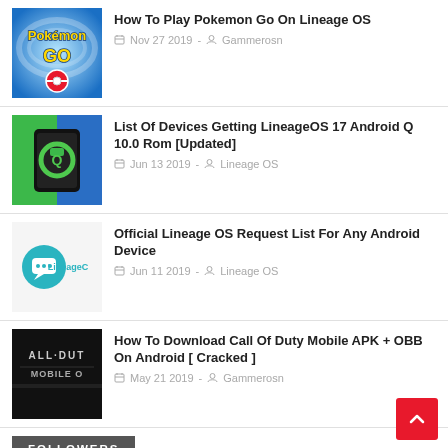[Figure (screenshot): Pokemon Go game logo thumbnail - blue background with yellow Pokemon Go text and red ball]
How To Play Pokemon Go On Lineage OS
Nov 27 2019 - Gammerosn
[Figure (screenshot): LineageOS 17 Android Q thumbnail - green and blue background with Android Q logo on phone]
List Of Devices Getting LineageOS 17 Android Q 10.0 Rom [Updated]
Jun 13 2019 - Lineage OS
[Figure (logo): LineageC logo - teal circle with white chat bubble icon and LineageC text]
Official Lineage OS Request List For Any Android Device
Jun 11 2019 - Lineage OS
[Figure (screenshot): Call of Duty Mobile thumbnail - dark background with CALL DUTY MOBILE text]
How To Download Call Of Duty Mobile APK + OBB On Android [ Cracked ]
May 21 2019 - Gammerosn
FOLLOWERS
Followers (323) Next